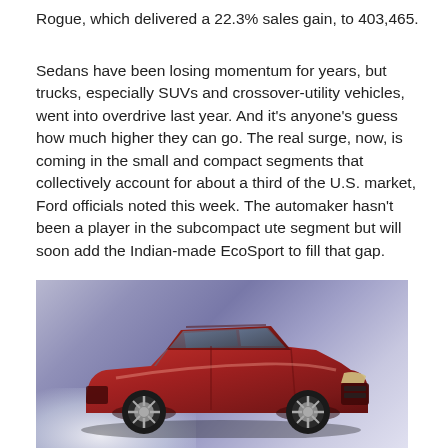Rogue, which delivered a 22.3% sales gain, to 403,465.
Sedans have been losing momentum for years, but trucks, especially SUVs and crossover-utility vehicles, went into overdrive last year. And it's anyone's guess how much higher they can go. The real surge, now, is coming in the small and compact segments that collectively account for about a third of the U.S. market, Ford officials noted this week. The automaker hasn't been a player in the subcompact ute segment but will soon add the Indian-made EcoSport to fill that gap.
[Figure (photo): A red Nissan Rogue SUV photographed against a purple/blue smoky background with dramatic lighting, fog at the bottom left.]